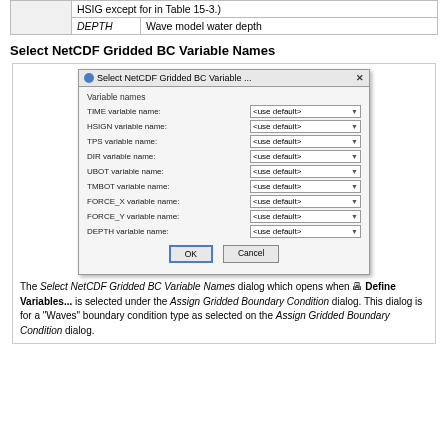|  |  |  |
| --- | --- | --- |
|  | HSIG except for in Table 15-3.) |  |
|  | DEPTH | Wave model water depth |
Select NetCDF Gridded BC Variable Names
[Figure (screenshot): Select NetCDF Gridded BC Variable Names dialog with dropdown fields for TIME, HSIGN, TPS, DIR, UBOT, TMBOT, FORCE_X, FORCE_Y, DEPTH variable names, all set to <use default>, with OK and Cancel buttons.]
The Select NetCDF Gridded BC Variable Names dialog which opens when Define Variables... is selected under the Assign Gridded Boundary Condition dialog. This dialog is for a "Waves" boundary condition type as selected on the Assign Gridded Boundary Condition dialog.